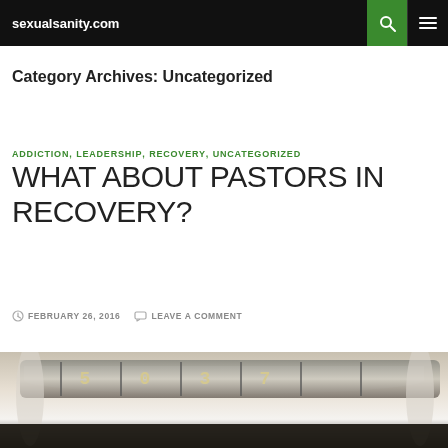sexualsanity.com
Category Archives: Uncategorized
ADDICTION, LEADERSHIP, RECOVERY, UNCATEGORIZED
WHAT ABOUT PASTORS IN RECOVERY?
FEBRUARY 26, 2016   LEAVE A COMMENT
[Figure (photo): Close-up photo of a combination lock dial, partially rolled paper underneath, dark background at bottom]